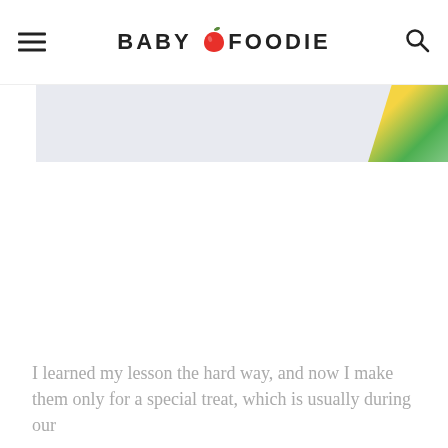BABY FOODIE
[Figure (photo): Partial view of a food photo with yellow flowers/produce on a light blue-grey background, cropped at top of page]
I learned my lesson the hard way, and now I make them only for a special treat, which is usually during our